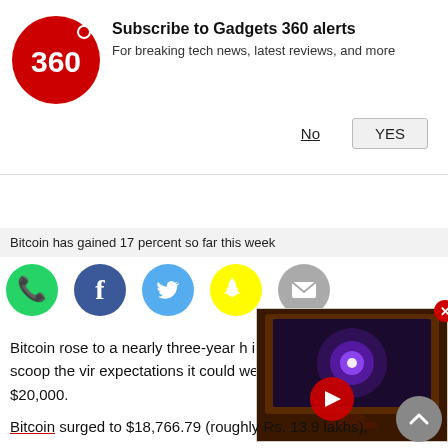[Figure (screenshot): Gadgets 360 subscription notification banner with red circular logo showing '360', bold title 'Subscribe to Gadgets 360 alerts', subtitle 'For breaking tech news, latest reviews, and more', and buttons 'No' and 'YES']
Bitcoin has gained 17 percent so far this week
[Figure (other): Row of social sharing icons: WhatsApp (green), Facebook (dark blue), Twitter (light blue), Snapchat (yellow), and an email/share icon (grey)]
Bitcoin rose to a nearly three-year h investors continued to scoop the vir expectations it could well exceed its under $20,000.
[Figure (screenshot): Floating video widget showing a TV with galaxy/space wallpaper, red play button overlay, and red close button in top right corner]
Bitcoin surged to $18,766.79 (roughly Rs. 13.9 lakhs),